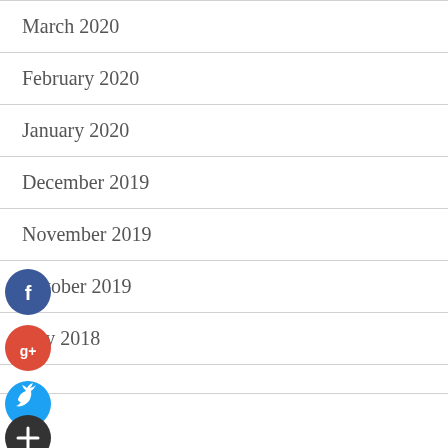March 2020
February 2020
January 2020
December 2019
November 2019
October 2019
July 2018
[Figure (infographic): Social share buttons: Facebook (blue circle with f), Google+ (red circle with g+), Twitter (blue circle with bird), More (dark circle with plus sign)]